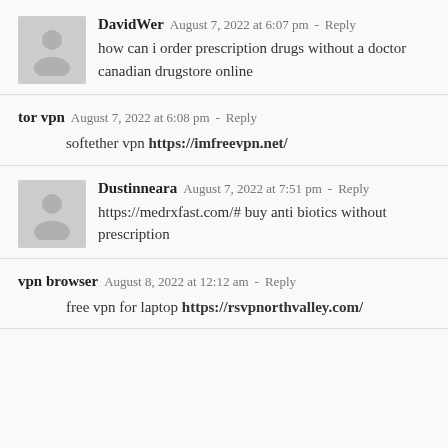DavidWer  August 7, 2022 at 6:07 pm - Reply
how can i order prescription drugs without a doctor canadian drugstore online
tor vpn  August 7, 2022 at 6:08 pm - Reply
softether vpn https://imfreevpn.net/
Dustinneara  August 7, 2022 at 7:51 pm - Reply
https://medrxfast.com/# buy anti biotics without prescription
vpn browser  August 8, 2022 at 12:12 am - Reply
free vpn for laptop https://rsvpnorthvalley.com/